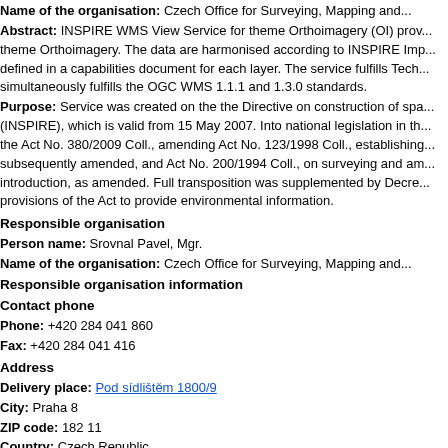Name of the organisation: Czech Office for Surveying, Mapping and...
Abstract: INSPIRE WMS View Service for theme Orthoimagery (OI) provides... simultaneously fulfills the OGC WMS 1.1.1 and 1.3.0 standards.
Purpose: Service was created on the the Directive on construction of spa... provisions of the Act to provide environmental information.
Responsible organisation
Person name: Srovnal Pavel, Mgr.
Name of the organisation: Czech Office for Surveying, Mapping and...
Responsible organisation information
Contact phone
Phone: +420 284 041 860
Fax: +420 284 041 416
Address
Delivery place: Pod sídlištěm 1800/9
City: Praha 8
ZIP code: 182 11
Country: Czech Republic
E-mail: pavel.srovnal@cuzk.cz
Online source
Link: https://geoportal.cuzk.cz